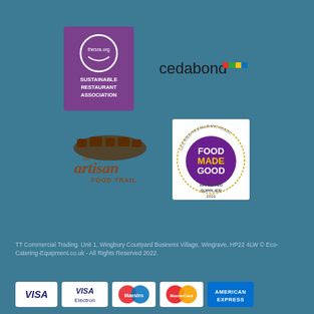[Figure (logo): Sustainable Restaurant Association (thesra.org) logo — purple/mauve rectangle with white circle and text]
[Figure (logo): Cedabond logo — black text 'cedabond' with small coloured square dots]
[Figure (logo): The Artisan Food Trail logo — brown rustic logo with cows silhouette and handwritten text]
[Figure (logo): Food Made Good Approved Supplier 2016 logo — white rectangle with purple circle badge]
TT Commercial Trading. Unit 1, Wingbury Courtyard Business Village, Wingrave, HP22 4LW © Eco-Catering-Equipment.co.uk - All Rights Reserved 2022.
[Figure (logo): Payment method logos: Visa, Visa Electron, Maestro, MasterCard, American Express]